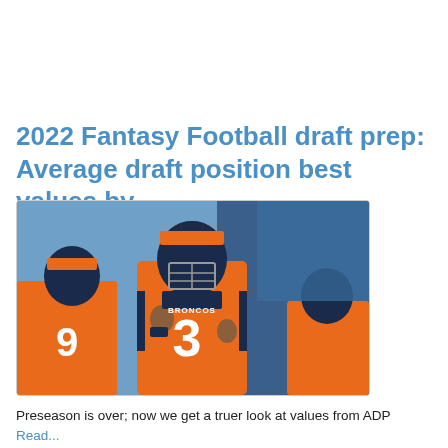2022 Fantasy Football draft prep: Average draft position best values by...
[Figure (photo): Denver Broncos players in orange uniforms running onto the field. The player in the foreground wears jersey number 3 (Russell Wilson). Other players, including one wearing number 9, are visible behind him. A blue background with a partial logo is visible.]
Preseason is over; now we get a truer look at values from ADP Read...